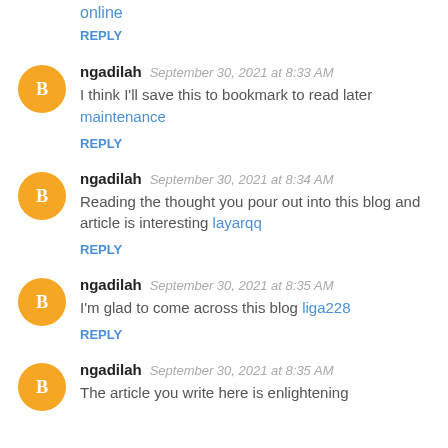online
REPLY
ngadilah  September 30, 2021 at 8:33 AM
I think I'll save this to bookmark to read later maintenance
REPLY
ngadilah  September 30, 2021 at 8:34 AM
Reading the thought you pour out into this blog and article is interesting layarqq
REPLY
ngadilah  September 30, 2021 at 8:35 AM
I'm glad to come across this blog liga228
REPLY
ngadilah  September 30, 2021 at 8:35 AM
The article you write here is enlightening